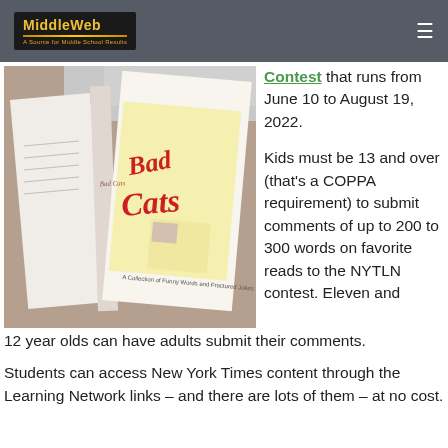MiddleWeb
[Figure (photo): A photo of the book 'Bad Cats' open and propped up on a carpet, with a cat visible in the background. The book cover shows 'Bad Cats' in red script with cartoon illustrations.]
Contest that runs from June 10 to August 19, 2022.
Kids must be 13 and over (that's a COPPA requirement) to submit comments of up to 200 to 300 words on favorite reads to the NYTLN contest. Eleven and 12 year olds can have adults submit their comments.
Students can access New York Times content through the Learning Network links – and there are lots of them – at no cost.